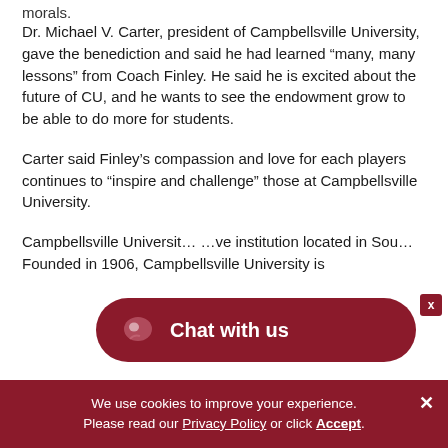morals.
Dr. Michael V. Carter, president of Campbellsville University, gave the benediction and said he had learned “many, many lessons” from Coach Finley. He said he is excited about the future of CU, and he wants to see the endowment grow to be able to do more for students.
Carter said Finley’s compassion and love for each players continues to “inspire and challenge” those at Campbellsville University.
Campbellsville University is a ... institution located in Sou... Founded in 1906, Campbellsville University is
[Figure (other): Chat with us widget button overlay, dark red rounded rectangle with speech bubble icon]
We use cookies to improve your experience. Please read our Privacy Policy or click Accept.